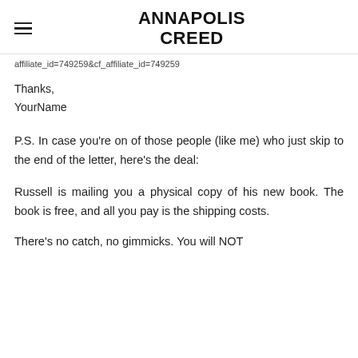ANNAPOLIS CREED
affiliate_id=749259&cf_affiliate_id=749259
Thanks,
YourName
P.S. In case you're on of those people (like me) who just skip to the end of the letter, here's the deal:
Russell is mailing you a physical copy of his new book. The book is free, and all you pay is the shipping costs.
There's no catch, no gimmicks. You will NOT